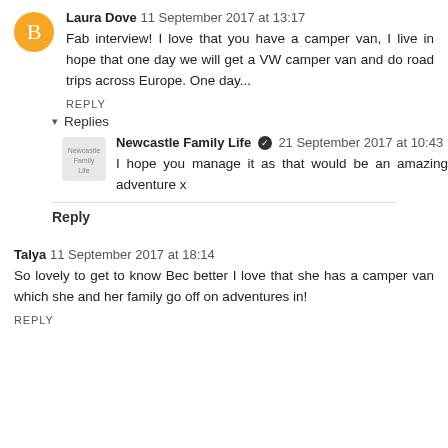Laura Dove  11 September 2017 at 13:17
Fab interview! I love that you have a camper van, I live in hope that one day we will get a VW camper van and do road trips across Europe. One day...
REPLY
Replies
Newcastle Family Life  21 September 2017 at 10:43
I hope you manage it as that would be an amazing adventure x
Reply
Talya  11 September 2017 at 18:14
So lovely to get to know Bec better I love that she has a camper van which she and her family go off on adventures in!
REPLY